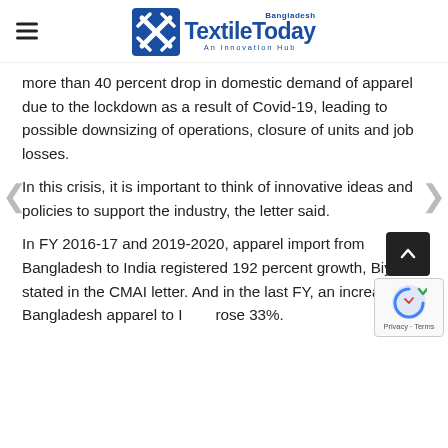Textile Today Bangladesh — An Innovation Hub
more than 40 percent drop in domestic demand of apparel due to the lockdown as a result of Covid-19, leading to possible downsizing of operations, closure of units and job losses.
In this crisis, it is important to think of innovative ideas and policies to support the industry, the letter said.
In FY 2016-17 and 2019-2020, apparel import from Bangladesh to India registered 192 percent growth, Biyani stated in the CMAI letter. And in the last FY, an increase of Bangladesh apparel to I… rose 33%.